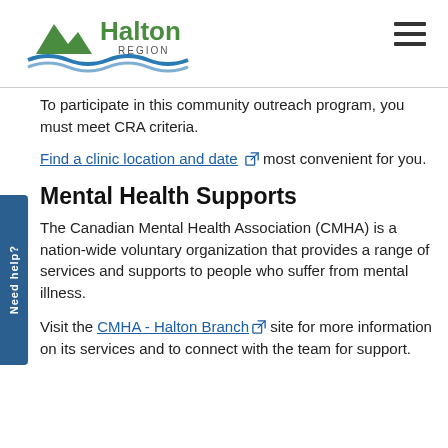[Figure (logo): Halton Region logo with mountain/hills icon in green and blue wave, text 'Halton REGION']
To participate in this community outreach program, you must meet CRA criteria.
Find a clinic location and date [external link icon] most convenient for you.
Mental Health Supports
The Canadian Mental Health Association (CMHA) is a nation-wide voluntary organization that provides a range of services and supports to people who suffer from mental illness.
Visit the CMHA - Halton Branch [external link icon] site for more information on its services and to connect with the team for support.